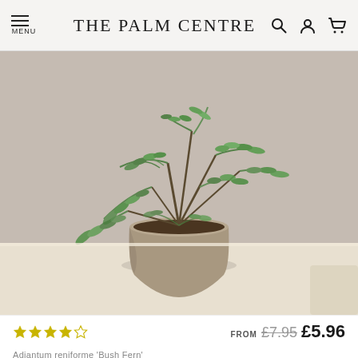THE PALM CENTRE
[Figure (photo): A green fern plant with feathery fronds in a taupe/beige plastic nursery pot, set against a warm beige background on a white surface.]
FROM £7.95 £5.96
★★★★☆